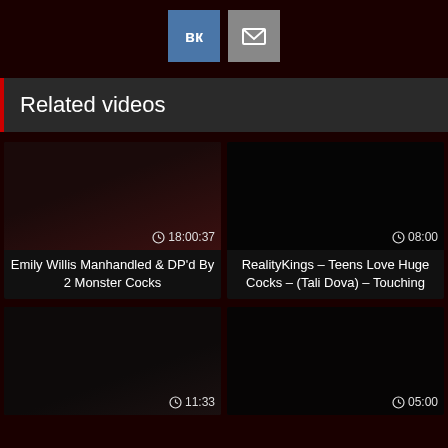[Figure (screenshot): Social share buttons: VK (blue) and mail (gray)]
Related videos
[Figure (screenshot): Video thumbnail dark, duration 18:00:37, title: Emily Willis Manhandled & DP'd By 2 Monster Cocks]
[Figure (screenshot): Video thumbnail dark, duration 08:00, title: RealityKings – Teens Love Huge Cocks – (Tali Dova) – Touching]
[Figure (screenshot): Video thumbnail dark, duration 11:33]
[Figure (screenshot): Video thumbnail dark, duration 05:00]